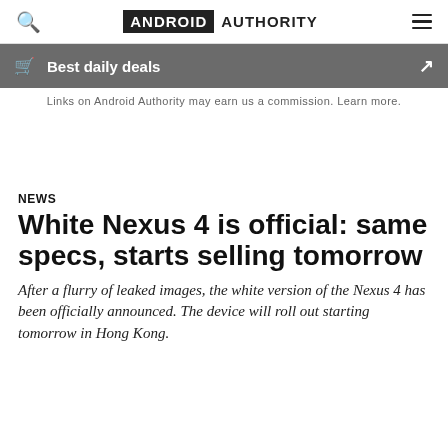ANDROID AUTHORITY
Best daily deals
Links on Android Authority may earn us a commission. Learn more.
NEWS
White Nexus 4 is official: same specs, starts selling tomorrow
After a flurry of leaked images, the white version of the Nexus 4 has been officially announced. The device will roll out starting tomorrow in Hong Kong.